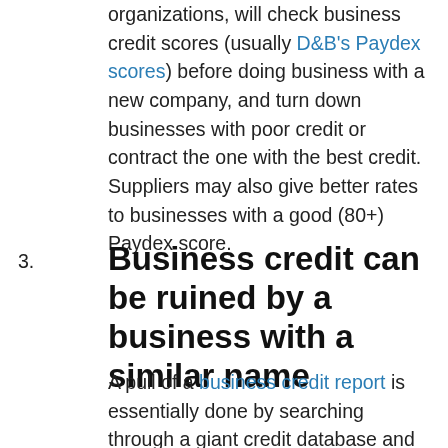organizations, will check business credit scores (usually D&B's Paydex scores) before doing business with a new company, and turn down businesses with poor credit or contract the one with the best credit. Suppliers may also give better rates to businesses with a good (80+) Paydex score.
3. Business credit can be ruined by a business with a similar name
A pull of a business credit report is essentially done by searching through a giant credit database and finding matching records of the company's' name and location. So, it's